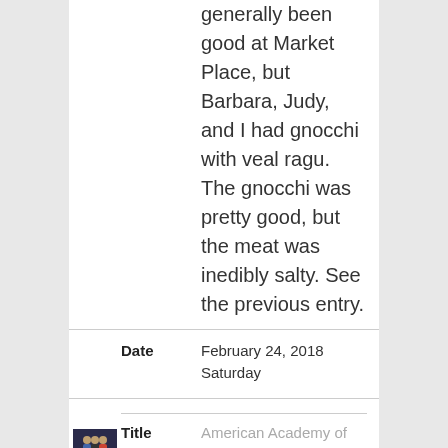generally been good at Market Place, but Barbara, Judy, and I had gnocchi with veal ragu. The gnocchi was pretty good, but the meat was inedibly salty. See the previous entry.
|  | Field | Value |
| --- | --- | --- |
|  | Date | February 24, 2018 Saturday |
[Figure (photo): Small thumbnail photo showing a group of people]
|  | Field | Value |
| --- | --- | --- |
|  | Title | American Academy of Arts and Letters. Annual |